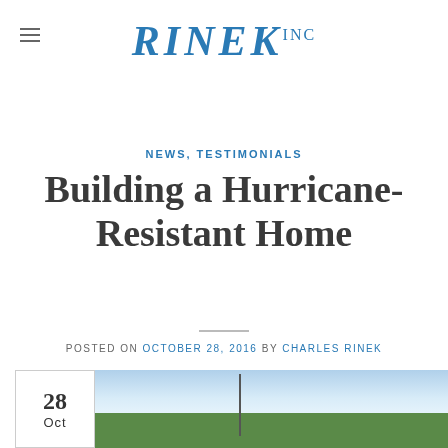RINEK INC
NEWS, TESTIMONIALS
Building a Hurricane-Resistant Home
POSTED ON OCTOBER 28, 2016 BY CHARLES RINEK
[Figure (photo): Outdoor photo showing a tall pole or mast against a blue sky with clouds, with green trees in the background. A date badge showing '28 Oct' is overlaid in the bottom-left corner of the image.]